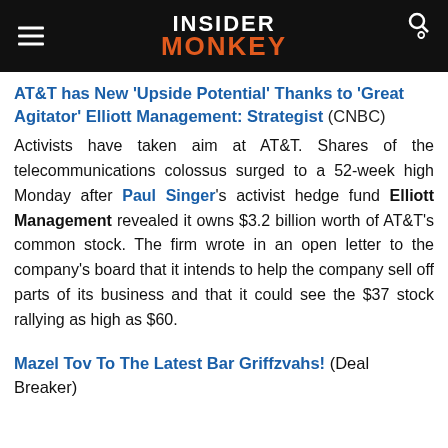Insider Monkey
AT&T has New 'Upside Potential' Thanks to 'Great Agitator' Elliott Management: Strategist (CNBC)
Activists have taken aim at AT&T. Shares of the telecommunications colossus surged to a 52-week high Monday after Paul Singer's activist hedge fund Elliott Management revealed it owns $3.2 billion worth of AT&T's common stock. The firm wrote in an open letter to the company's board that it intends to help the company sell off parts of its business and that it could see the $37 stock rallying as high as $60.
Mazel Tov To The Latest Bar Griffzvahs! (Deal Breaker)